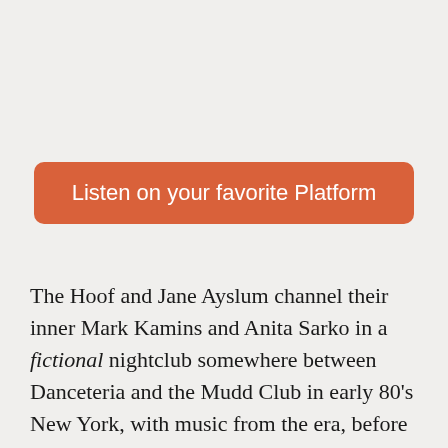[Figure (other): Orange/coral rounded rectangle button with text 'Listen on your favorite Platform']
The Hoof and Jane Ayslum channel their inner Mark Kamins and Anita Sarko in a fictional nightclub somewhere between Danceteria and the Mudd Club in early 80's New York, with music from the era, before and beyond. Also inspired by dancers at the Paradise Garage soundtracked by Larry Levan. The B boys, B girls and graffiti writers from the Bronx led by Africa Bambaataa at the Roxy, and the whole